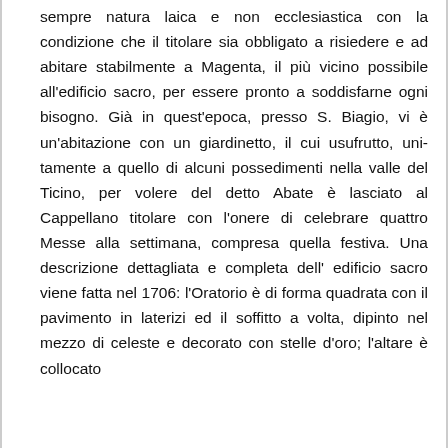sempre natura laica e non ecclesiastica con la condizione che il titolare sia obbligato a risiedere e ad abitare stabilmente a Magenta, il più vicino possibile all'edificio sacro, per essere pronto a soddisfarne ogni bisogno. Già in quest'epoca, presso S. Biagio, vi è un'abitazione con un giardinetto, il cui usufrutto, unitamente a quello di alcuni possedimenti nella valle del Ticino, per volere del detto Abate è lasciato al Cappellano titolare con l'onere di celebrare quattro Messe alla settimana, compresa quella festiva. Una descrizione dettagliata e completa dell' edificio sacro viene fatta nel 1706: l'Oratorio è di forma quadrata con il pavimento in laterizi ed il soffitto a volta, dipinto nel mezzo di celeste e decorato con stelle d'oro; l'altare è collocato